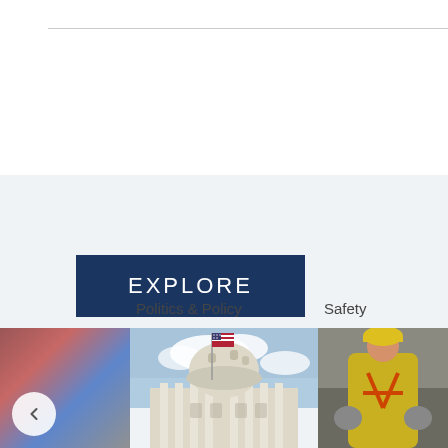EXPLORE
Politics & Policy
Safety
[Figure (photo): Partial view of a crowd or event, cut off on left side, with navigation back arrow button]
[Figure (photo): US Capitol building dome with American flag and blue cloudy sky — Politics & Policy section]
[Figure (photo): Worker in yellow long-sleeve shirt with safety harness — Safety section, partially cropped on right]